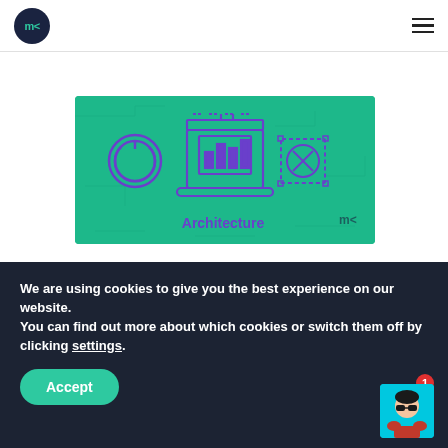MTG logo and navigation menu
Watch the webinar →
[Figure (illustration): Green circuit board background with purple icons: power button circle on the left, laptop/architecture icon in the center, dotted selection box icon on the right. Text 'Architecture' in purple below the center icon. MTG logo in bottom right corner.]
We are using cookies to give you the best experience on our website.
You can find out more about which cookies or switch them off by clicking settings.
Accept